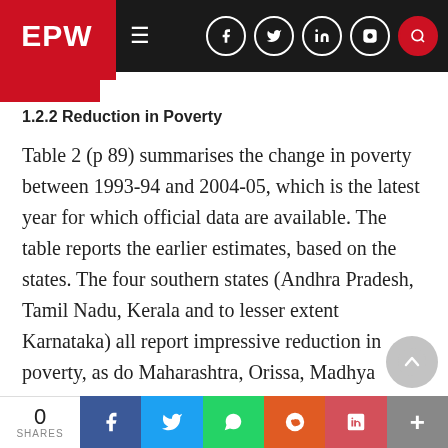EPW — Economic and Political Weekly navigation bar
1.2.2 Reduction in Poverty
Table 2 (p 89) summarises the change in poverty between 1993-94 and 2004-05, which is the latest year for which official data are available. The table reports the earlier estimates, based on the states. The four southern states (Andhra Pradesh, Tamil Nadu, Kerala and to lesser extent Karnataka) all report impressive reduction in poverty, as do Maharashtra, Orissa, Madhya Pradesh and Himachal Pradesh. There is no improvement in Uttar Pradesh and Bihar, very little improvement in West Bengal and an actual deterioration in
0 SHARES | Facebook | Twitter | WhatsApp | Reddit | Pocket | More